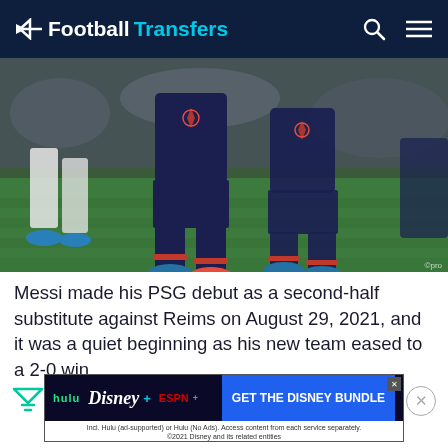FootballTransfers
[Figure (photo): PSG players in dark navy kits walking on green football pitch, legs and boots visible, crowd in background]
Messi made his PSG debut as a second-half substitute against Reims on August 29, 2021, and it was a quiet beginning as his new team eased to a 2-0 win.
[Figure (other): Disney Bundle advertisement banner: hulu, Disney+, ESPN+ logos with GET THE DISNEY BUNDLE CTA button]